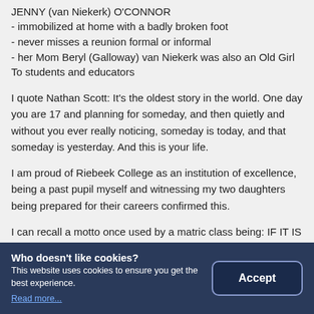JENNY (van Niekerk) O'CONNOR
- immobilized at home with a badly broken foot
- never misses a reunion formal or informal
- her Mom Beryl (Galloway) van Niekerk was also an Old Girl
To students and educators
I quote Nathan Scott: It's the oldest story in the world. One day you are 17 and planning for someday, and then quietly and without you ever really noticing, someday is today, and that someday is yesterday. And this is your life.
I am proud of Riebeek College as an institution of excellence, being a past pupil myself and witnessing my two daughters being prepared for their careers confirmed this.
I can recall a motto once used by a matric class being: IF IT IS TO BE IT IS UP TO ME. Ten of some of the most powerful two-letter words, which have inspired me.
…wish all the students at Riebeek College exam results which reflect your dedication, sustained effort and preparedness during 2019.
Who doesn't like cookies?
This website uses cookies to ensure you get the best experience.
Read more...